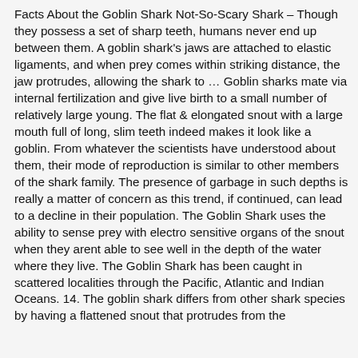Facts About the Goblin Shark Not-So-Scary Shark – Though they possess a set of sharp teeth, humans never end up between them. A goblin shark's jaws are attached to elastic ligaments, and when prey comes within striking distance, the jaw protrudes, allowing the shark to … Goblin sharks mate via internal fertilization and give live birth to a small number of relatively large young. The flat & elongated snout with a large mouth full of long, slim teeth indeed makes it look like a goblin. From whatever the scientists have understood about them, their mode of reproduction is similar to other members of the shark family. The presence of garbage in such depths is really a matter of concern as this trend, if continued, can lead to a decline in their population. The Goblin Shark uses the ability to sense prey with electro sensitive organs of the snout when they arent able to see well in the depth of the water where they live. The Goblin Shark has been caught in scattered localities through the Pacific, Atlantic and Indian Oceans. 14. The goblin shark differs from other shark species by having a flattened snout that protrudes from the